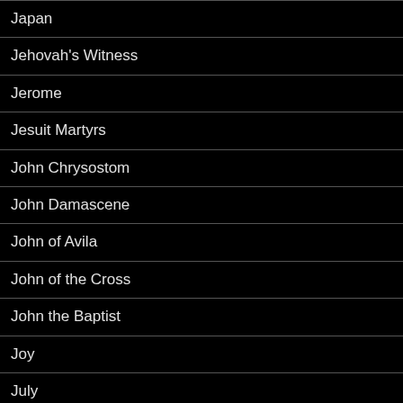Japan
Jehovah's Witness
Jerome
Jesuit Martyrs
John Chrysostom
John Damascene
John of Avila
John of the Cross
John the Baptist
Joy
July
June
Justice